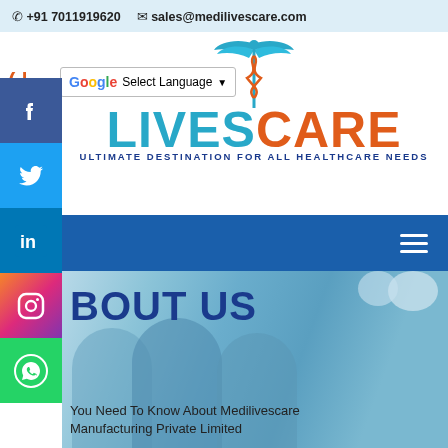+91 7011919620  sales@medilivescare.com
[Figure (logo): Medilivescare logo with caduceus symbol, LIVES in teal and CARE in orange, tagline: ULTIMATE DESTINATION FOR ALL HEALTHCARE NEEDS]
Select Language
[Figure (screenshot): Social media sidebar with Facebook, Twitter, LinkedIn, Instagram, WhatsApp buttons]
[Figure (photo): Navigation bar with blue background and hamburger menu icon]
BOUT US
You Need To Know About Medilivescare Manufacturing Private Limited